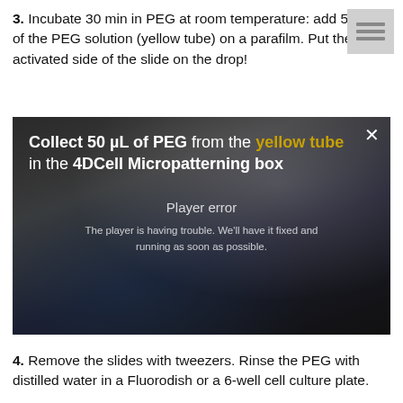3. Incubate 30 min in PEG at room temperature: add 50 µL of the PEG solution (yellow tube) on a parafilm. Put the activated side of the slide on the drop!
[Figure (screenshot): Video player screenshot showing a gloved hand with a pipette collecting liquid. Overlay text reads 'Collect 50 µL of PEG from the yellow tube in the 4DCell Micropatterning box'. A player error message reads 'Player error. The player is having trouble. We'll have it fixed and running as soon as possible.']
4. Remove the slides with tweezers. Rinse the PEG with distilled water in a Fluorodish or a 6-well cell culture plate.